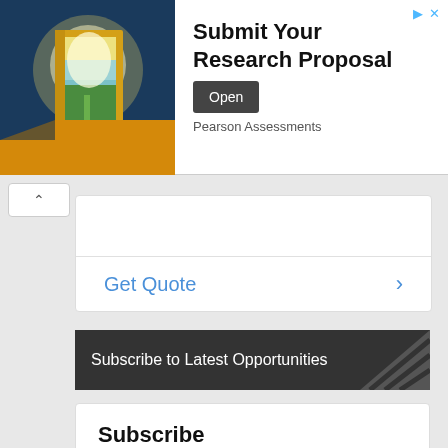[Figure (illustration): Advertisement banner showing an open door with golden light and landscape, for Pearson Assessments research proposal submission]
Submit Your Research Proposal
Pearson Assessments
Get Quote
Subscribe to Latest Opportunities
Subscribe
Join our growing community of over 100,000 champs today! Follow us on Facebook, Twitter, Instagram, …
Continue reading